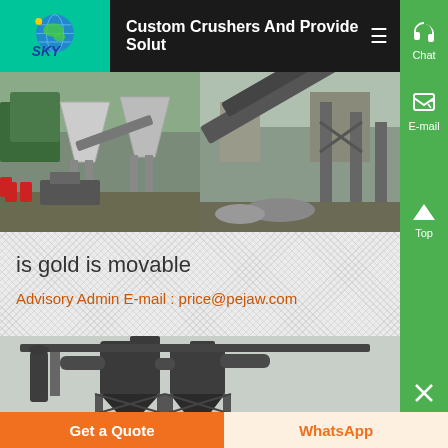[Figure (logo): SKY company logo with globe on green background]
Custom Crushers And Provide Solut
[Figure (photo): Industrial crusher and conveyor belt equipment at a quarry site - two photos side by side]
is gold is movable
Advisory Admin E-mail : price@pejaw.com
[Figure (photo): Large industrial dust collector or cyclone separator machinery]
Get a Quote
WhatsApp